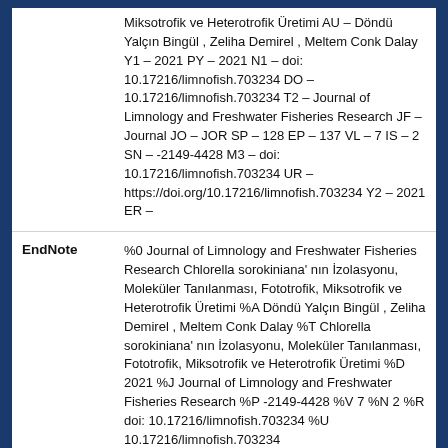Miksotrofik ve Heterotrofik Üretimi AU - Döndü Yalçın Bingül , Zeliha Demirel , Meltem Conk Dalay Y1 - 2021 PY - 2021 N1 - doi: 10.17216/limnofish.703234 DO - 10.17216/limnofish.703234 T2 - Journal of Limnology and Freshwater Fisheries Research JF - Journal JO - JOR SP - 128 EP - 137 VL - 7 IS - 2 SN - -2149-4428 M3 - doi: 10.17216/limnofish.703234 UR - https://doi.org/10.17216/limnofish.703234 Y2 - 2021 ER -
EndNote  %0 Journal of Limnology and Freshwater Fisheries Research Chlorella sorokiniana' nın İzolasyonu, Moleküler Tanılanması, Fototrofik, Miksotrofik ve Heterotrofik Üretimi %A Döndü Yalçın Bingül , Zeliha Demirel , Meltem Conk Dalay %T Chlorella sorokiniana' nın İzolasyonu, Moleküler Tanılanması, Fototrofik, Miksotrofik ve Heterotrofik Üretimi %D 2021 %J Journal of Limnology and Freshwater Fisheries Research %P -2149-4428 %V 7 %N 2 %R doi: 10.17216/limnofish.703234 %U 10.17216/limnofish.703234